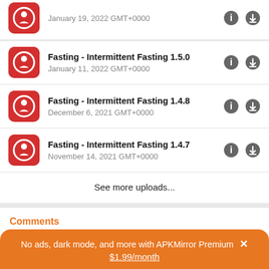Fasting - Intermittent Fasting 1.5.0
January 11, 2022 GMT+0000
Fasting - Intermittent Fasting 1.4.8
December 6, 2021 GMT+0000
Fasting - Intermittent Fasting 1.4.7
November 14, 2021 GMT+0000
See more uploads...
Comments
No ads, dark mode, and more with APKMirror Premium ×
$1.99/month